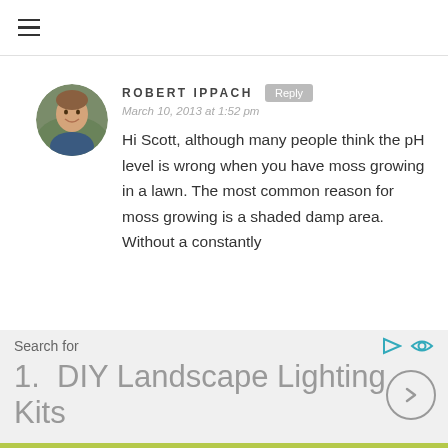≡
[Figure (photo): Circular avatar photo of Robert Ippach, a smiling man outdoors]
ROBERT IPPACH
Reply
March 10, 2013 at 1:52 pm
Hi Scott, although many people think the pH level is wrong when you have moss growing in a lawn. The most common reason for moss growing is a shaded damp area. Without a constantly
Search for
1.  DIY Landscape Lighting Kits